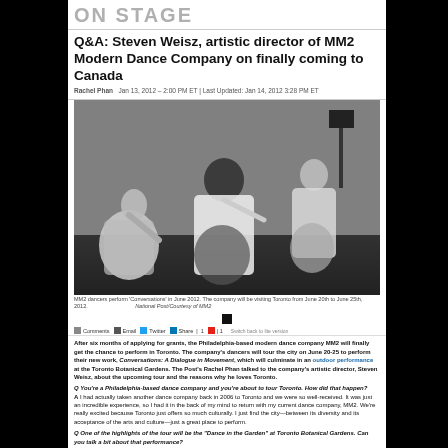ON STAGE
Q&A: Steven Weisz, artistic director of MM2 Modern Dance Company on finally coming to Canada
Rachel Phan  Jan 13, 2012 – 2:00 PM ET | Last Updated: Jan 14, 2012 3:28 PM ET
[Figure (photo): Black and white photo of MM2 dancers performing 'Conversations' in June 2012. Three dancers are posed on the floor in a dance studio setting.]
MM2 dancers perform 'Conversations' in June 2012. The company will be visiting Toronto from June 20th to June 25th, 2012.
After six months of applying for grants, the Philadelphia-based modern dance company MM2 will finally get the chance to perform in Toronto. The company's dancers will tour the city on June 20-25 to perform their new work, Conversations: A Dialogue in Movement, which will culminate in an outdoor performance at the Toronto Botanical Gardens. The Post's Rachel Phan talked to the company's artistic director, Steven Weisz, about the upcoming tour and the reasons why he loves Toronto.
Q You're a Philadelphia-based dance company and you're about to tour Toronto. How did that happen?
A I had actually taken another dance company back in 2006 to Toronto and we were so well-received. It was just an incredible experience, so I had it in the back of my mind to return with my current dance company, MM2. We're really excited because Toronto just offers so much culturally. I just find the city—between its diversity and its acceptance of the arts and culture—just a great place to perform.
Q One of the highlights of the tour will be the "Dance in the Garden" at Toronto Botanical Gardens. Can you talk a bit about that performance?
A We're going to be doing about a 60 minute performance. We're a little bit different from most companies [because] a lot of dance companies have a single choreographer, but we're more of an incubator for young artists that are getting started. Most of our dancers have recently graduated from a four year college with a degree in dance, and for the first time, many of them are exploring the choreographic process. Each member of the company, besides dancing, has also choreographed a piece that will be presented. So, there is a total of 10 pieces and they're all under the guise of our theme this year – Conversations: a Dialogue Through Movement.
Q And how is this theme, "a dialogue through movement," manifested in